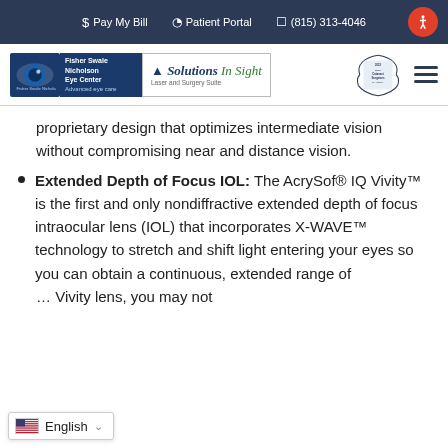$ Pay My Bill | Patient Portal | (815) 313-4046
[Figure (logo): Fisher-Swale-Nicholson Eye Center / Solutions In Sight logo, with award badge for Best Cataract Surgeons in America 2022]
proprietary design that optimizes intermediate vision without compromising near and distance vision.
Extended Depth of Focus IOL: The AcrySof® IQ Vivity™ is the first and only nondiffractive extended depth of focus intraocular lens (IOL) that incorporates X-WAVE™ technology to stretch and shift light entering your eyes so you can obtain a continuous, extended range of … Vivity lens, you may not